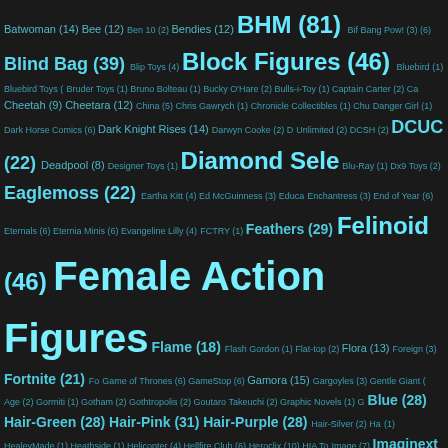[Figure (other): Tag cloud of collectible toy categories with counts shown in parentheses. Items are displayed in varying font sizes indicating frequency, on a dark background with teal/cyan colored text. Categories include Batwoman, Bee, Ben 10, Bendies, BHM, Bif Bang Pow!, Blind Bag, Blip Toys, Block Figures, Bluebird, Bluebird Toys, Bruder Toys, Bruno Bolteau, Bucky O'Hare, Bulls-i-Toy, Captain Carter, Cheetah, Cheetara, China, Chris Gawrych, Chronicle Collectibles, Danger Girl, Dark Horse Comics, Dark Knight Rises, Darwyn Cooke, Unlimited, DCSH, DCUC, Deadpool, Designer Toys, Diamond Select, Blu-Ray, Dx9 Toys, Eaglemoss, Eartha Kitt, Ed McGuinness, Enchantress, End of Year, Eternals, Eternia Minis, Evangeline Lilly, FCTRY, Feathers, Felinoid, Female Action Figures, Flame, Flash Gordon, Flat-top, Flora, Foreign, Fortnite, Game of Thrones, GameStop, Gamora, Gargoyles, Gentle Giant, Age, Gormiti, Gotham, Gothtropolis, Goutaro Takeuchi, Graphic Novels, Hair-Blue, Hair-Green, Hair-Pink, Hair-Purple, Hair-Silver, HealeyMade, Heathside, Helicopter, Hellfire Club, Heroclix, HIA Toys, Image, Imaginext, IMC Toys, Import, Impossible Toys, Incendium, Factory, Iron Man, Iron Studios, Ironheart, Italy, Ivan Reis, Jada Toys, Jean, Jessica Drew, Jessica Jones, Jia Qi, Jim Henson, Jim Lee, Snyder, JoyRide Studios, Jubilee, Julia Carpenter, Julie Newmar, Junn, Kamen Rider, Karen Palinko, Katana, Keita Misonou, Kenner, Kristina Gaughran, Kubrick, Kucharek Bros, Lady Deadpool, Lady Ja, Living Toys, LJN Toys, Lois Lane, LOTR, Loyal Subjects, Lycanthrope, Mario Bros, Mark Newman, Martial Arts, Marvel, Marvel Ga, Marvel, Mastermind Creations, Masters of the Universe, Masterve, Medicom, Medusa, Mega Bloks, Mera, Mermaid, Metal Heroes]